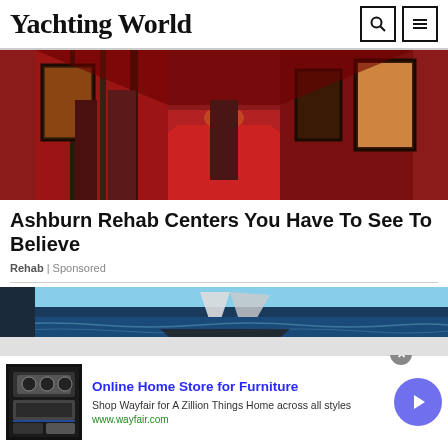Yachting World
[Figure (photo): Red-carpeted hotel or ship corridor with ornate framed pictures on red walls, perspective view down hallway]
Ashburn Rehab Centers You Have To See To Believe
Rehab | Sponsored
[Figure (photo): Yacht sail and dark blue water, partial view]
[Figure (advertisement): Wayfair ad: Online Home Store for Furniture. Shop Wayfair for A Zillion Things Home across all styles. www.wayfair.com. Thumbnail showing kitchen appliances.]